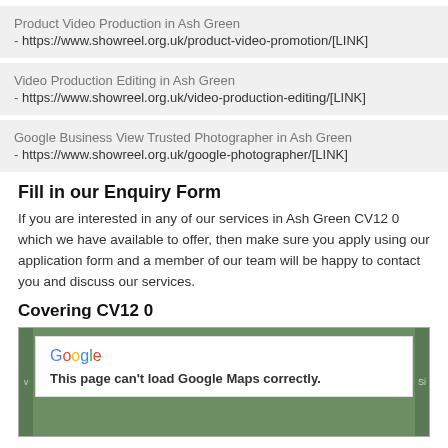Product Video Production in Ash Green - https://www.showreel.org.uk/product-video-promotion/[LINK]
Video Production Editing in Ash Green - https://www.showreel.org.uk/video-production-editing/[LINK]
Google Business View Trusted Photographer in Ash Green - https://www.showreel.org.uk/google-photographer/[LINK]
Fill in our Enquiry Form
If you are interested in any of our services in Ash Green CV12 0 which we have available to offer, then make sure you apply using our application form and a member of our team will be happy to contact you and discuss our services.
Covering CV12 0
[Figure (screenshot): Google Maps error box showing 'Google' logo and message 'This page can't load Google Maps correctly.' on a green map background]